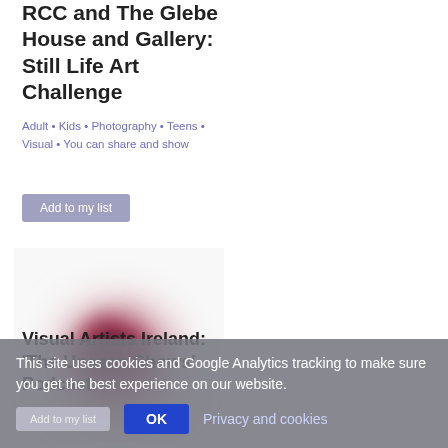RCC and The Glebe House and Gallery: Still Life Art Challenge
Adult • Kids • Photography • Teens • Visual • You can share and show
Add to my list
[Figure (photo): Blurred abstract image of a dark red/maroon circular shape on a white background]
Visual Artists Ireland: 'The Unseen Shows' Podcast
This site uses cookies and Google Analytics tracking to make sure you get the best experience on our website.
OK  Privacy and cookies